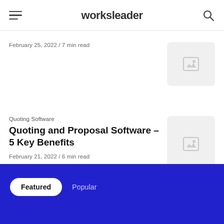worksleader
February 25, 2022 / 7 min read
Quoting Software
Quoting and Proposal Software – 5 Key Benefits
February 21, 2022 / 6 min read
Featured  Popular